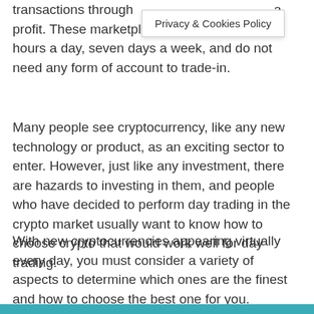transactions through [Privacy & Cookies Policy] a profit. These marketplaces are available 24 hours a day, seven days a week, and do not need any form of account to trade-in.
Many people see cryptocurrency, like any new technology or product, as an exciting sector to enter. However, just like any investment, there are hazards to investing in them, and people who have decided to perform day trading in the crypto market usually want to know how to choose crypto that would work well for day trading.
With new cryptocurrencies appearing virtually every day, you must consider a variety of aspects to determine which ones are the finest and how to choose the best one for you.